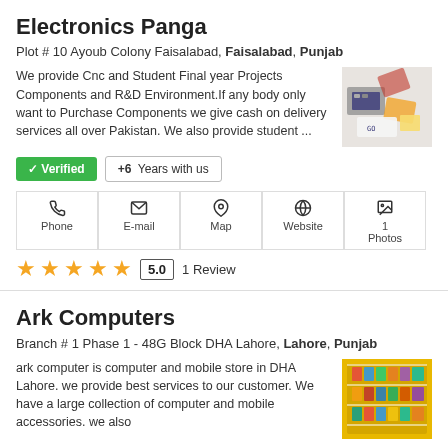Electronics Panga
Plot # 10 Ayoub Colony Faisalabad, Faisalabad, Punjab
We provide Cnc and Student Final year Projects Components and R&D Environment.If any body only want to Purchase Components we give cash on delivery services all over Pakistan. We also provide student ...
[Figure (photo): Photo of electronics components including Arduino boards and accessories]
✓ Verified   +6 Years with us
Phone  E-mail  Map  Website  1 Photos
★★★★★  5.0  1 Review
Ark Computers
Branch # 1 Phase 1 - 48G Block DHA Lahore, Lahore, Punjab
ark computer is computer and mobile store in DHA Lahore. we provide best services to our customer. We have a large collection of computer and mobile accessories. we also
[Figure (photo): Photo of a computer and mobile accessories store with yellow shelving]